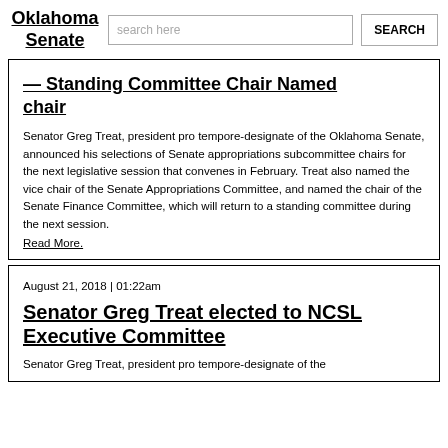Oklahoma Senate
… Standing Committee chair and named chair
Senator Greg Treat, president pro tempore-designate of the Oklahoma Senate, announced his selections of Senate appropriations subcommittee chairs for the next legislative session that convenes in February. Treat also named the vice chair of the Senate Appropriations Committee, and named the chair of the Senate Finance Committee, which will return to a standing committee during the next session.
Read More.
August 21, 2018 | 01:22am
Senator Greg Treat elected to NCSL Executive Committee
Senator Greg Treat, president pro tempore-designate of the